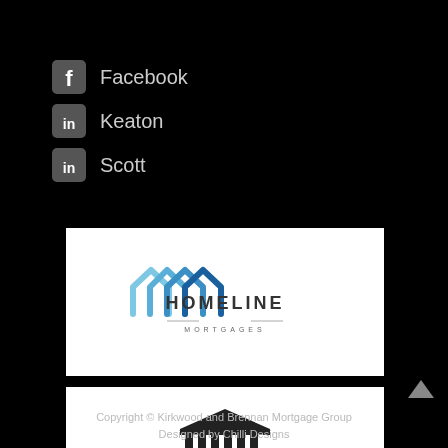Facebook
Keaton
Scott
[Figure (logo): Homeline Mortgages logo with blue house-shape icons and text]
[Figure (logo): Dominion Lending Centres logo with pillared building icon and text]
Copyright © Kirkwood and Brennan Mortgage Group
Designed by Chilli Designs